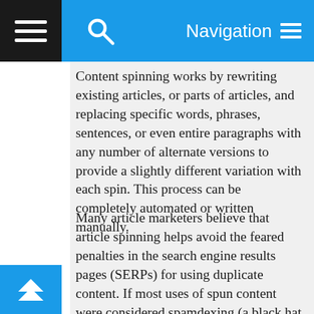Navigation
Content spinning works by rewriting existing articles, or parts of articles, and replacing specific words, phrases, sentences, or even entire paragraphs with any number of alternate versions to provide a slightly different variation with each spin. This process can be completely automated or written manually.
Many article marketers believe that article spinning helps avoid the feared penalties in the search engine results pages (SERPs) for using duplicate content. If most uses of spun content were considered spamdexing (a black hat SEO practice) years ago, it is now admitted as a fair way to lower the similarity ratio, hence the near duplicate or duplicate content, on large catalogs of more or less similar items. Originally, most spun content was produced through automated methods, resulting in articles which were hard or impossible to read. However, as article spinning techniques are refined and used in a more sophisticated way, they result in providing readable